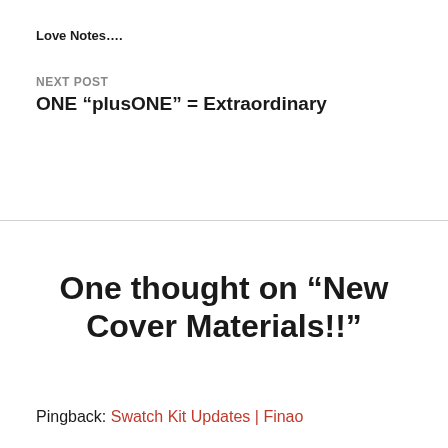Love Notes....
NEXT POST
ONE “plusONE” = Extraordinary
One thought on “New Cover Materials!!”
Pingback: Swatch Kit Updates | Finao